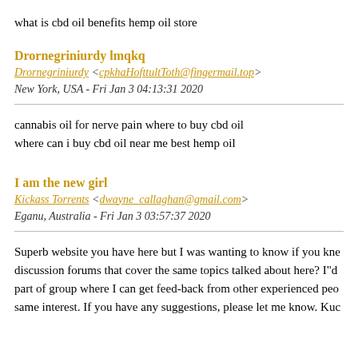what is cbd oil benefits hemp oil store
Drornegriniurdy lmqkq
Drornegriniurdy <cpkhaHofttultToth@fingermail.top>
New York, USA - Fri Jan 3 04:13:31 2020
cannabis oil for nerve pain where to buy cbd oil where can i buy cbd oil near me best hemp oil
I am the new girl
Kickass Torrents <dwayne_callaghan@gmail.com>
Eganu, Australia - Fri Jan 3 03:57:37 2020
Superb website you have here but I was wanting to know if you kne discussion forums that cover the same topics talked about here? I"d part of group where I can get feed-back from other experienced peo same interest. If you have any suggestions, please let me know. Kuc